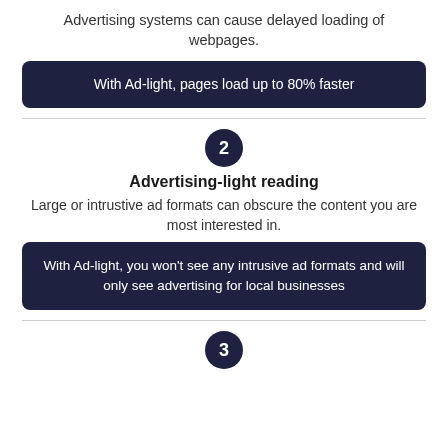Advertising systems can cause delayed loading of webpages.
With Ad-light, pages load up to 80% faster
2
Advertising-light reading
Large or intrustive ad formats can obscure the content you are most interested in.
With Ad-light, you won't see any intrusive ad formats and will only see advertising for local businesses
3